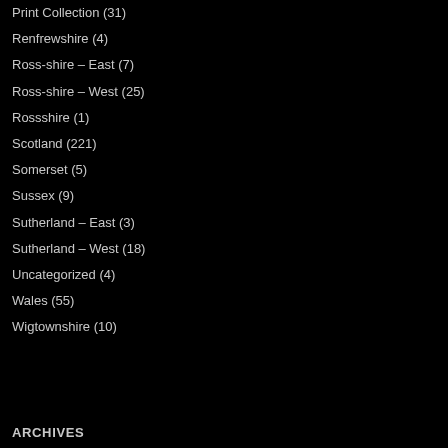Print Collection (31)
Renfrewshire (4)
Ross-shire – East (7)
Ross-shire – West (25)
Rossshire (1)
Scotland (221)
Somerset (5)
Sussex (9)
Sutherland – East (3)
Sutherland – West (18)
Uncategorized (4)
Wales (55)
Wigtownshire (10)
ARCHIVES